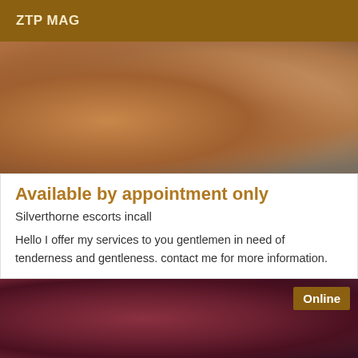ZTP MAG
[Figure (photo): Close-up photo showing human skin tones, warm brown and orange hues]
Available by appointment only
Silverthorne escorts incall
Hello I offer my services to you gentlemen in need of tenderness and gentleness. contact me for more information.
[Figure (photo): Close-up photo with dark reddish-purple tones, showing hair and dark fabric; Online badge in top-right corner]